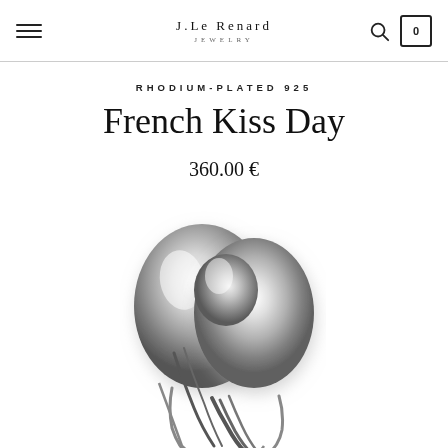J.LE RENARD JEWELRY
RHODIUM-PLATED 925
French Kiss Day
360.00 €
[Figure (photo): Silver rhodium-plated ring with intertwined bands forming an organic sculptural shape, photographed on white background]